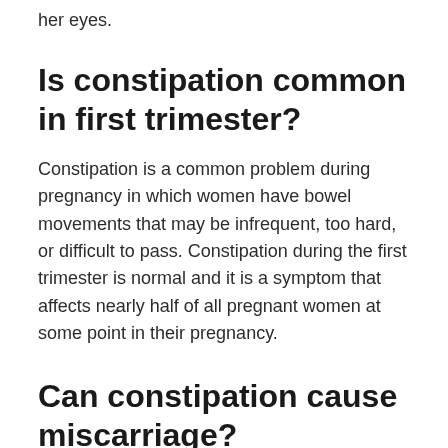her eyes.
Is constipation common in first trimester?
Constipation is a common problem during pregnancy in which women have bowel movements that may be infrequent, too hard, or difficult to pass. Constipation during the first trimester is normal and it is a symptom that affects nearly half of all pregnant women at some point in their pregnancy.
Can constipation cause miscarriage?